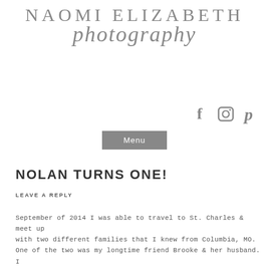Naomi Elizabeth photography
[Figure (logo): Social media icons: Facebook, Instagram, Pinterest in gray]
Menu
NOLAN TURNS ONE!
LEAVE A REPLY
September of 2014 I was able to travel to St. Charles & meet up with two different families that I knew from Columbia, MO. One of the two was my longtime friend Brooke & her husband. I blogged their anniversary session that we had & spoke about two special phone calls we had shared (view it HERE). Well, I